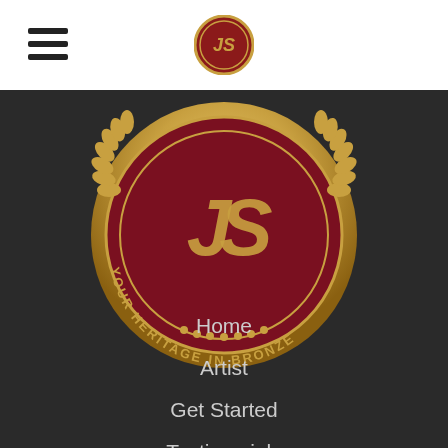JS Your Heritage in Bronze - navigation header with hamburger menu and logo
[Figure (logo): Circular JS Your Heritage in Bronze logo - dark red/maroon background with gold laurel wreath border and gold JS lettering, with text 'YOUR HERITAGE IN BRONZE' around the ring]
Home
Artist
Get Started
Testimonials
Links
Blog